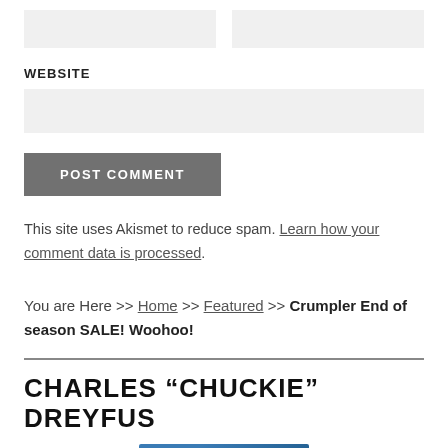WEBSITE
POST COMMENT
This site uses Akismet to reduce spam. Learn how your comment data is processed.
You are Here >> Home >> Featured >> Crumpler End of season SALE! Woohoo!
CHARLES “CHUCKIE” DREYFUS
[Figure (photo): Partial image at bottom of page, appears to be a photo with blue/teal tones]